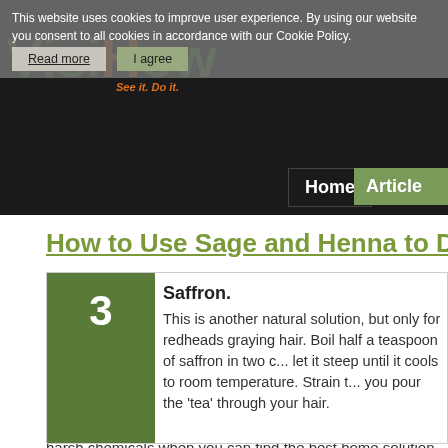This website uses cookies to improve user experience. By using our website you consent to all cookies in accordance with our Cookie Policy. Read more | I agree
[Figure (logo): VisiHow logo with orange flame icon, tagline 'See it. Do it.']
How to Use Sage and Henna to Da...
3. Saffron. This is another natural solution, but only for redheads graying hair. Boil half a teaspoon of saffron in two c... let it steep until it cools to room temperature. Strain t... you pour the 'tea' through your hair.
There are lots of home remedies you can consider to color... harsh chemicals when you can find the best home solution...